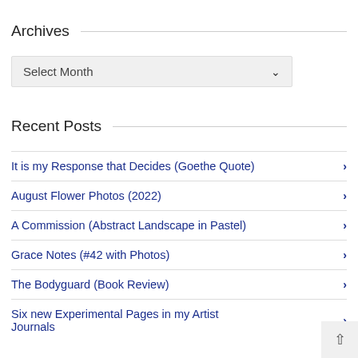Archives
Select Month
Recent Posts
It is my Response that Decides (Goethe Quote) ›
August Flower Photos (2022) ›
A Commission (Abstract Landscape in Pastel) ›
Grace Notes (#42 with Photos) ›
The Bodyguard (Book Review) ›
Six new Experimental Pages in my Artist Journals ›